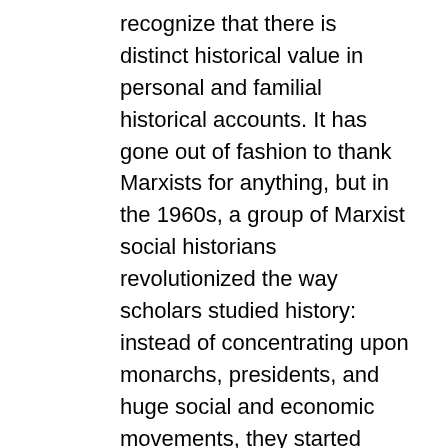recognize that there is distinct historical value in personal and familial historical accounts. It has gone out of fashion to thank Marxists for anything, but in the 1960s, a group of Marxist social historians revolutionized the way scholars studied history: instead of concentrating upon monarchs, presidents, and huge social and economic movements, they started paying attention to how the ordinary person lived. Before, the day-to-day details were left to newspapers and novels to record, but now, your Uncle Ernie's timeworn story might be just the piece of oral history evidence that allows a